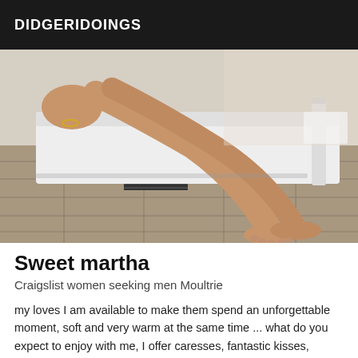DIDGERIDOINGS
[Figure (photo): Photo of a woman's legs resting on a white lounge chair outdoors on a stone/tile patio surface, sunny daylight setting]
Sweet martha
Craigslist women seeking men Moultrie
my loves I am available to make them spend an unforgettable moment, soft and very warm at the same time ... what do you expect to enjoy with me, I offer caresses, fantastic kisses, relaxing massage, prostate massage and different positions do not hesitate and